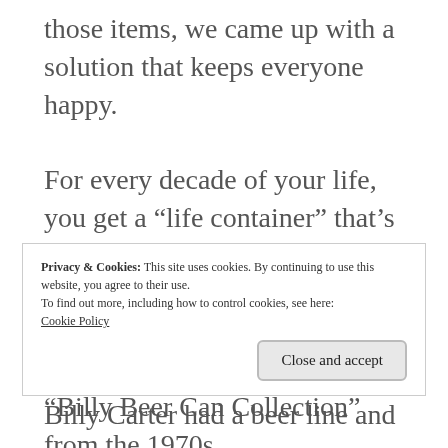those items, we came up with a solution that keeps everyone happy.
For every decade of your life, you get a “life container” that’s yours to pack with whatever you deem important. It’s different for each person. My husband’s container has a “Billy Beer Can Collection” from the 1970s.
Privacy & Cookies: This site uses cookies. By continuing to use this website, you agree to their use.
To find out more, including how to control cookies, see here:
Cookie Policy
Close and accept
Billy Carter had a beer line and we